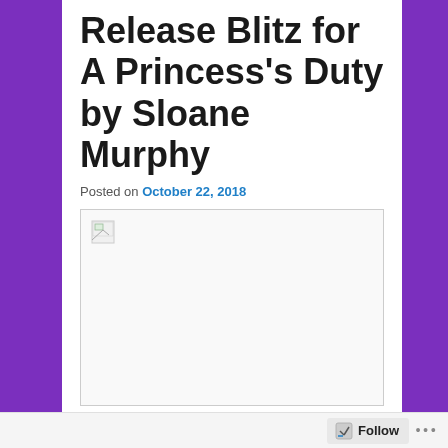Release Blitz for A Princess’s Duty by Sloane Murphy
Posted on October 22, 2018
[Figure (photo): Broken/unloaded image placeholder with small broken image icon in top-left corner]
THE PRINCESS’S DUTY (OF FIRE AND FROST #1), AN ALL-NEW DARK FAE ROMANCE BY SLOANE MURPHY IS NOW